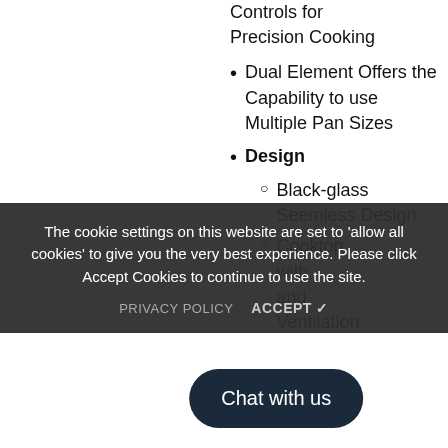Controls for Precision Cooking
Dual Element Offers the Capability to use Multiple Pan Sizes
Design
Black-glass Seemless Design
Cooktop
with
and
Ventilation
The cookie settings on this website are set to 'allow all cookies' to give you the very best experience. Please click Accept Cookies to continue to use the site.
PRIVACY POLICY   ACCEPT ✓
Chat with us